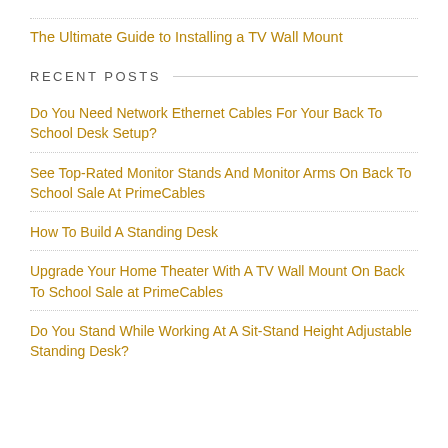The Ultimate Guide to Installing a TV Wall Mount
RECENT POSTS
Do You Need Network Ethernet Cables For Your Back To School Desk Setup?
See Top-Rated Monitor Stands And Monitor Arms On Back To School Sale At PrimeCables
How To Build A Standing Desk
Upgrade Your Home Theater With A TV Wall Mount On Back To School Sale at PrimeCables
Do You Stand While Working At A Sit-Stand Height Adjustable Standing Desk?